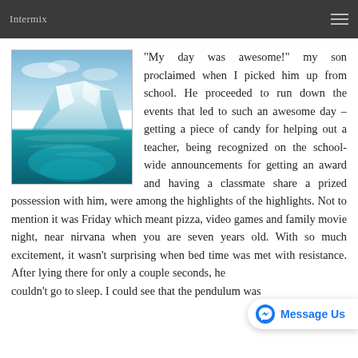Intermix
[Figure (photo): Aerial or close-up photo of a glacier or iceberg floating in turquoise water with blue sky in background]
“My day was awesome!” my son proclaimed when I picked him up from school. He proceeded to run down the events that led to such an awesome day – getting a piece of candy for helping out a teacher, being recognized on the school-wide announcements for getting an award and having a classmate share a prized possession with him, were among the highlights of the highlights. Not to mention it was Friday which meant pizza, video games and family movie night, near nirvana when you are seven years old. With so much excitement, it wasn't surprising when bed time was met with resistance. After lying there for only a couple seconds, he couldn’t go to sleep. I could see that the pendulum was